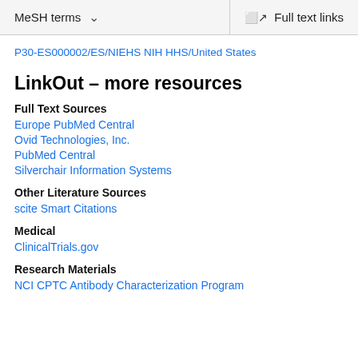MeSH terms  ˅   Full text links
P30-ES000002/ES/NIEHS NIH HHS/United States
LinkOut – more resources
Full Text Sources
Europe PubMed Central
Ovid Technologies, Inc.
PubMed Central
Silverchair Information Systems
Other Literature Sources
scite Smart Citations
Medical
ClinicalTrials.gov
Research Materials
NCI CPTC Antibody Characterization Program